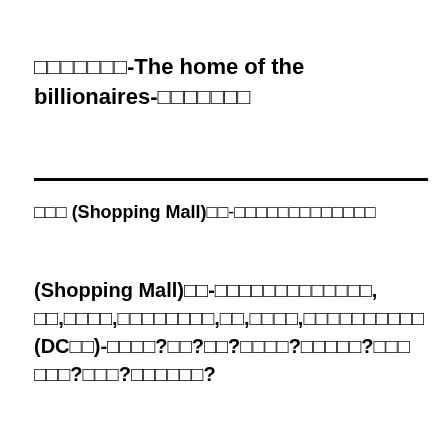□□□□□□□-The home of the billionaires-□□□□□□□
□□□ (Shopping Mall)□□-□□□□□□□□□□□□□
(Shopping Mall)□□-□□□□□□□□□□□□□, □□,□□□□,□□□□□□□□,□□,□□□□,□□□□□□□□□□ (DC□□)-□□□□?□□?□□?□□□□?□□□□□?□□□ □□□?□□□?□□□□□□?